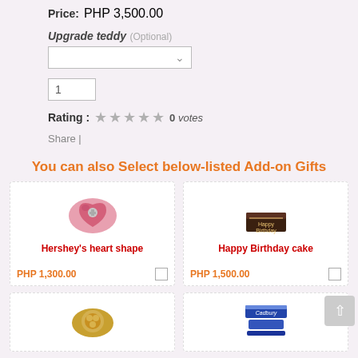Price: PHP 3,500.00
Upgrade teddy (Optional)
1
Rating : 0 votes
Share |
You can also Select below-listed Add-on Gifts
[Figure (photo): Hershey's heart shape chocolate box - pink heart shaped box]
Hershey's heart shape
PHP 1,300.00
[Figure (photo): Happy Birthday cake - square chocolate cake]
Happy Birthday cake
PHP 1,500.00
[Figure (photo): Ferrero Rocher chocolates in gold box]
[Figure (photo): Cadbury chocolate bars in blue packaging]